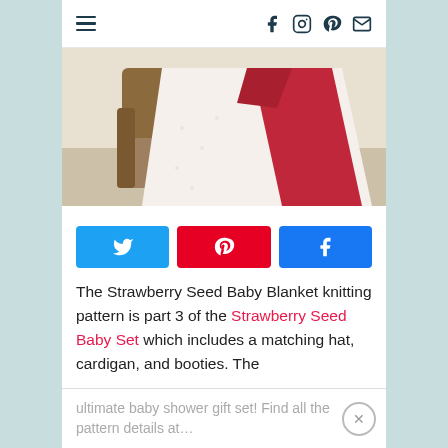≡  (hamburger menu) | Facebook Instagram Pinterest Email icons
[Figure (photo): A red and white knitted baby blanket draped over a wooden armchair]
[Figure (infographic): Three social share buttons: Twitter (blue), Pinterest (red), Facebook (blue)]
The Strawberry Seed Baby Blanket knitting pattern is part 3 of the Strawberry Seed Baby Set which includes a matching hat, cardigan, and booties. The
ultimate baby shower gift set! Find all the pattern details at…  ×